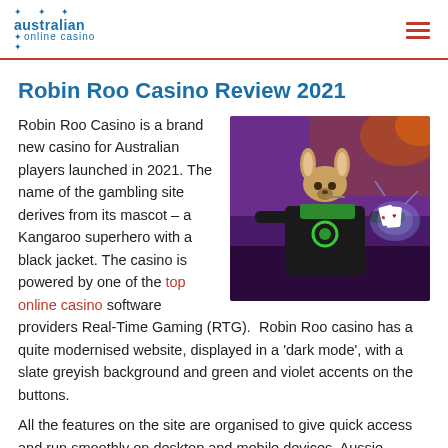australian online casino
Robin Roo Casino Review 2021
[Figure (illustration): Illustrated kangaroo superhero character wearing a black jacket with green accents, holding glowing playing cards, set against a purple/dark city background]
Robin Roo Casino is a brand new casino for Australian players launched in 2021. The name of the gambling site derives from its mascot – a Kangaroo superhero with a black jacket. The casino is powered by one of the top online casino software providers Real-Time Gaming (RTG).  Robin Roo casino has a quite modernised website, displayed in a 'dark mode', with a slate greyish background and green and violet accents on the buttons.
All the features on the site are organised to give quick access and run smoothly on desktop and mobile devices. Aussie players can enjoy table games, online casino...